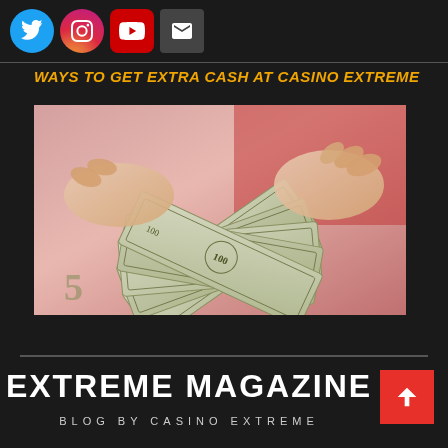Social media icons: Twitter, Instagram, YouTube, Email
WAYS TO GET EXTRA CASH AT CASINO EXTREME
[Figure (photo): Hands holding fanned out US dollar bills, with a red-tinted background]
EXTREME MAGAZINE
BLOG BY CASINO EXTREME